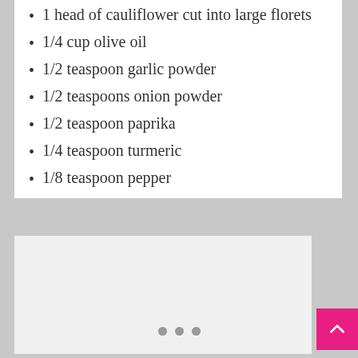1 head of cauliflower cut into large florets
1/4 cup olive oil
1/2 teaspoon garlic powder
1/2 teaspoons onion powder
1/2 teaspoon paprika
1/4 teaspoon turmeric
1/8 teaspoon pepper
[Figure (photo): Food photo placeholder area with light gray background]
• • •